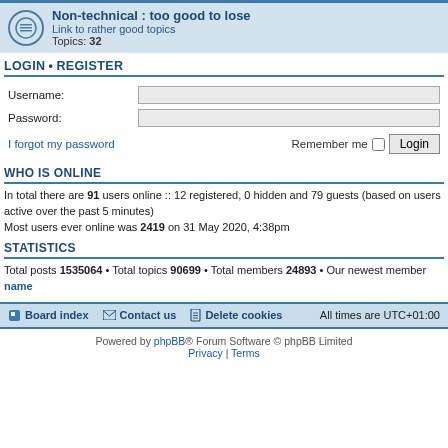Non-technical : too good to lose
Link to rather good topics
Topics: 32
LOGIN • REGISTER
Username:
Password:
I forgot my password
Remember me
WHO IS ONLINE
In total there are 91 users online :: 12 registered, 0 hidden and 79 guests (based on users active over the past 5 minutes)
Most users ever online was 2419 on 31 May 2020, 4:38pm
STATISTICS
Total posts 1535064 • Total topics 90699 • Total members 24893 • Our newest member name
Board index  Contact us  Delete cookies  All times are UTC+01:00
Powered by phpBB® Forum Software © phpBB Limited
Privacy | Terms